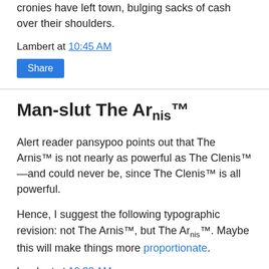cronies have left town, bulging sacks of cash over their shoulders.
Lambert at 10:45 AM
Share
Man-slut The Arnis™
Alert reader pansypoo points out that The Arnis™ is not nearly as powerful as The Clenis™—and could never be, since The Clenis™ is all powerful.
Hence, I suggest the following typographic revision: not The Arnis™, but The Arnis™. Maybe this will make things more proportionate.
Lambert at 10:32 AM
Share